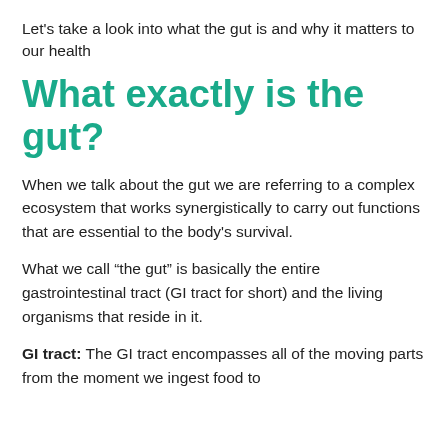Let's take a look into what the gut is and why it matters to our health
What exactly is the gut?
When we talk about the gut we are referring to a complex ecosystem that works synergistically to carry out functions that are essential to the body's survival.
What we call “the gut” is basically the entire gastrointestinal tract (GI tract for short) and the living organisms that reside in it.
GI tract: The GI tract encompasses all of the moving parts from the moment we ingest food to